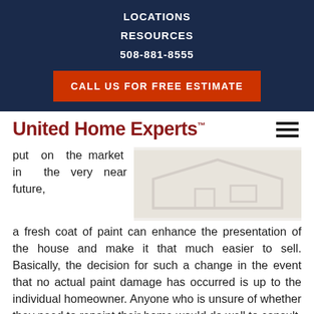LOCATIONS
RESOURCES
508-881-8555
CALL US FOR FREE ESTIMATE
United Home Experts™
[Figure (photo): Faded/watermark style image of a house exterior]
put on the market in the very near future, a fresh coat of paint can enhance the presentation of the house and make it that much easier to sell. Basically, the decision for such a change in the event that no actual paint damage has occurred is up to the individual homeowner. Anyone who is unsure of whether they need to repaint their home would do well to consult